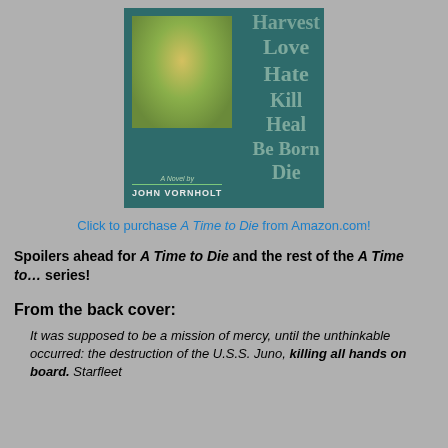[Figure (illustration): Book cover for 'A Time to Die' by John Vornholt. Teal/dark green background with a painted face on the left and words on the right: Harvest, Love, Hate, Kill, Heal, Be Born, Die. Bottom left says 'A Novel by' with a green line and 'JOHN VORNHOLT' in capital letters.]
Click to purchase A Time to Die from Amazon.com!
Spoilers ahead for A Time to Die and the rest of the A Time to... series!
From the back cover:
It was supposed to be a mission of mercy, until the unthinkable occurred: the destruction of the U.S.S. Juno, killing all hands on board. Starfleet